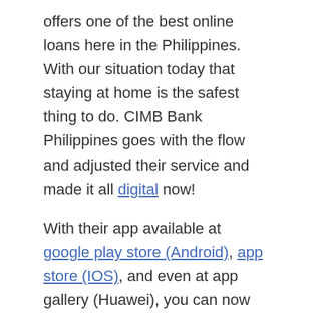offers one of the best online loans here in the Philippines. With our situation today that staying at home is the safest thing to do. CIMB Bank Philippines goes with the flow and adjusted their service and made it all digital now!
With their app available at google play store (Android), app store (IOS), and even at app gallery (Huawei), you can now apply for CIMB Bank personal loan and open an account using your phone anytime and anywhere. Hassle-free, apply without leaving the comfort of your home, and you can now avoid wasting your time standing in long lines!
Want to apply now? Want to know if you are eligible?